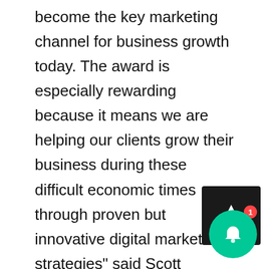become the key marketing channel for business growth today. The award is especially rewarding because it means we are helping our clients grow their business during these difficult economic times through proven but innovative digital marketing strategies" said Scott Lambert, President of Xcellimark.

In order to determine a company's eligibility to make the list, the Orlando Business Journal surveyed advertising companies in Orange, Lake, Seminole and Osceola counties, asking for a variety of information.

The list's ranking criteria is based on capitalize billings, so once all the responses are received, their